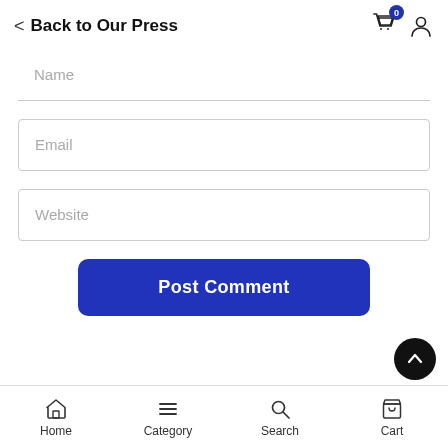Back to Our Press
Name
Email
Website
Post Comment
Home  Category  Search  Cart